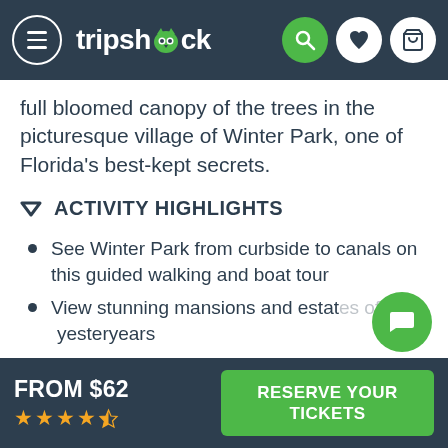tripshock
full bloomed canopy of the trees in the picturesque village of Winter Park, one of Florida's best-kept secrets.
ACTIVITY HIGHLIGHTS
See Winter Park from curbside to canals on this guided walking and boat tour
View stunning mansions and estates of yesteryears
Stroll Park Avenue and hear stories of
FROM $62  ★★★★½  RESERVE YOUR TICKETS